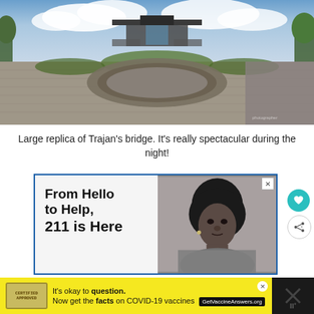[Figure (photo): Wide panoramic photo of a large replica of Trajan's bridge monument. Stone cobblestone plaza in foreground, dramatic sky with clouds above.]
Large replica of Trajan’s bridge. It’s really spectacular during the night!
[Figure (photo): Advertisement: 'From Hello to Help, 211 is Here' with black and white portrait photo of a young Black girl]
[Figure (photo): Bottom banner advertisement: 'It’s okay to question. Now get the facts on COVID-19 vaccines. GetVaccineAnswers.org']